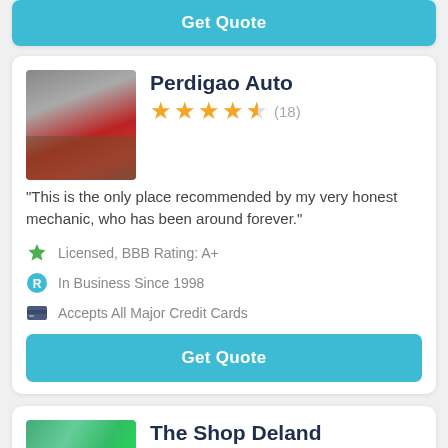[Figure (screenshot): Top of page showing cut-off Get Quote button from previous listing card]
Perdigao Auto
★★★★½ (18)
“This is the only place recommended by my very honest mechanic, who has been around forever.”
Licensed, BBB Rating: A+
In Business Since 1998
Accepts All Major Credit Cards
Get Quote
The Shop Deland
★★★★½ (20)
“Our pickup call was perfect and